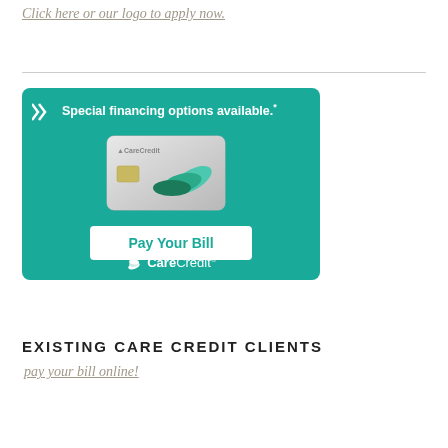Click here or our logo to apply now.
[Figure (illustration): CareCredit advertisement banner with teal background showing a CareCredit credit card image, 'Special financing options available.*' text with double chevron arrows, a white 'Pay Your Bill' button, and the CareCredit logo at the bottom.]
EXISTING CARE CREDIT CLIENTS
pay your bill online!